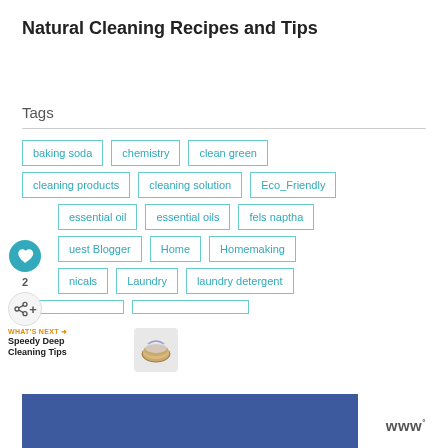Natural Cleaning Recipes and Tips
Tags
baking soda
chemistry
clean green
cleaning products
cleaning solution
Eco_Friendly
essential oil
essential oils
fels naptha
Guest Blogger
Home
Homemaking
Laundry
laundry detergent
[Figure (screenshot): Blue advertisement banner at bottom of page with Workfront logo]
WHAT'S NEXT → Speedy Deep Cleaning Tips